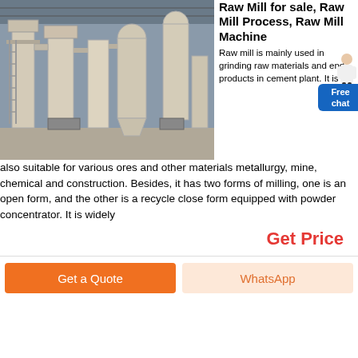[Figure (photo): Industrial raw mill machinery inside a large warehouse/factory building. Multiple large cream/beige colored vertical mill machines and cyclone separators connected by pipes, with metal walkways and ladders visible.]
Raw Mill for sale, Raw Mill Process, Raw Mill Machine
Raw mill is mainly used in grinding raw materials and end products in cement plant. It is also suitable for various ores and other materials metallurgy, mine, chemical and construction. Besides, it has two forms of milling, one is an open form, and the other is a recycle close form equipped with powder concentrator. It is widely
Get Price
Get a Quote
WhatsApp